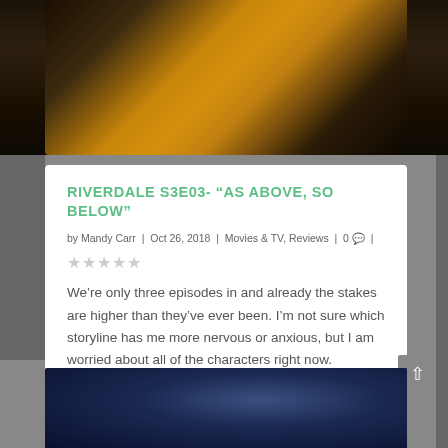[Figure (photo): Dark atmospheric scene with a figure in a yellow top, likely from the TV show Riverdale]
RIVERDALE S3E03- “AS ABOVE, SO BELOW”
by Mandy Carr | Oct 26, 2018 | Movies & TV, Reviews | 0 |
We’re only three episodes in and already the stakes are higher than they've ever been. I’m not sure which storyline has me more nervous or anxious, but I am worried about all of the characters right now.
READ MORE
[Figure (photo): Dark scene with a character from Riverdale, partially visible]